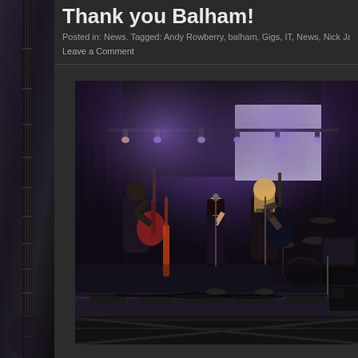Thank you Balham!
Posted in: News. Tagged: Andy Rowberry, balham, Gigs, IT, News, Nick Jack
Leave a Comment
[Figure (photo): Band performing on stage with purple stage lighting, projection screen in background, multiple musicians including guitarists and vocalist, with monitors and equipment on stage floor]